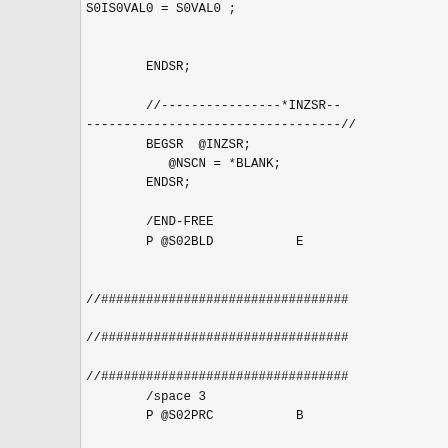S0IS0VAL0 = S0VAL0 ;

        ENDSR;

        //----------------*INZSR------------------------------------//
        BEGSR  @INZSR;
           @NSCN = *BLANK;
        ENDSR;

        /END-FREE
        P @S02BLD           E

//#################################

//#################################

//#################################
        /space 3
        P @S02PRC           B

        D @S02PRC           PI

                //
                //
        D WRKRC             S
4S 0

        /FREE